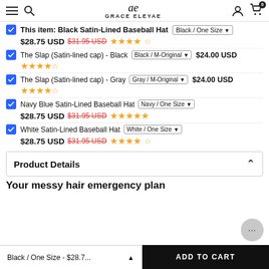GRACE ELEYAE
This item: Black Satin-Lined Baseball Hat | Black / One Size | $28.75 USD ($31.95 USD strikethrough) | 4.5 stars
The Slap (Satin-lined cap) - Black | Black / M-Original | $24.00 USD | 4.5 stars
The Slap (Satin-lined cap) - Gray | Gray / M-Original | $24.00 USD | 4.5 stars
Navy Blue Satin-Lined Baseball Hat | Navy / One Size | $28.75 USD ($31.95 USD strikethrough) | 5 stars
White Satin-Lined Baseball Hat | White / One Size | $28.75 USD ($31.95 USD strikethrough) | 4.5 stars
Product Details
Your messy hair emergency plan